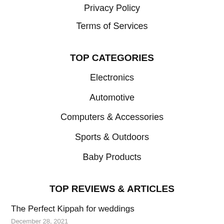Privacy Policy
Terms of Services
TOP CATEGORIES
Electronics
Automotive
Computers & Accessories
Sports & Outdoors
Baby Products
TOP REVIEWS & ARTICLES
The Perfect Kippah for weddings
December 28, 2021
Best Sticky or Adhesive Bras